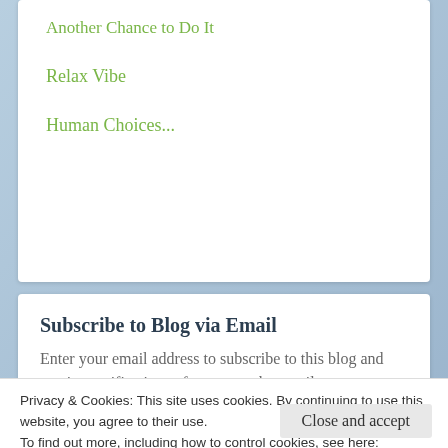Another Chance to Do It
Relax Vibe
Human Choices...
Subscribe to Blog via Email
Enter your email address to subscribe to this blog and receive notifications of new posts by email.
Privacy & Cookies: This site uses cookies. By continuing to use this website, you agree to their use.
To find out more, including how to control cookies, see here: Cookie Policy